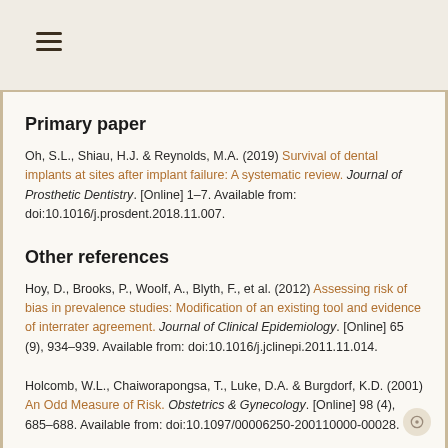≡
Primary paper
Oh, S.L., Shiau, H.J. & Reynolds, M.A. (2019) Survival of dental implants at sites after implant failure: A systematic review. Journal of Prosthetic Dentistry. [Online] 1–7. Available from: doi:10.1016/j.prosdent.2018.11.007.
Other references
Hoy, D., Brooks, P., Woolf, A., Blyth, F., et al. (2012) Assessing risk of bias in prevalence studies: Modification of an existing tool and evidence of interrater agreement. Journal of Clinical Epidemiology. [Online] 65 (9), 934–939. Available from: doi:10.1016/j.jclinepi.2011.11.014.
Holcomb, W.L., Chaiworapongsa, T., Luke, D.A. & Burgdorf, K.D. (2001) An Odd Measure of Risk. Obstetrics & Gynecology. [Online] 98 (4), 685–688. Available from: doi:10.1097/00006250-200110000-00028.
Chrcanovic, B.R., Kisch, J., Albrektsson, T. & Wennerberg, A.